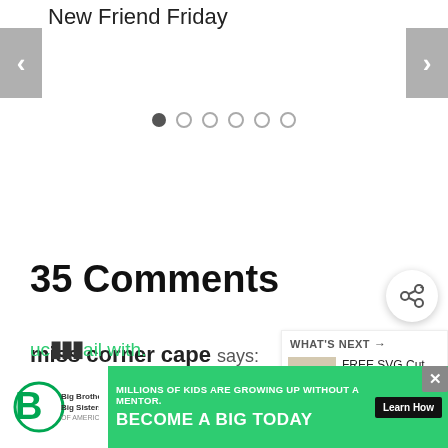New Friend Friday
[Figure (other): Slideshow navigation arrows (left and right) with dot pagination indicators (6 dots, first filled)]
35 Comments
miss corner cape says:
June 6, 2010 at 1:54 pm
[Figure (other): WHAT'S NEXT panel with thumbnail image and text: FREE SVG Cut Files for Cri...]
[Figure (other): Advertisement banner: Big Brothers Big Sisters - MILLIONS OF KIDS ARE GROWING UP WITHOUT A MENTOR. BECOME A BIG TODAY. Learn How]